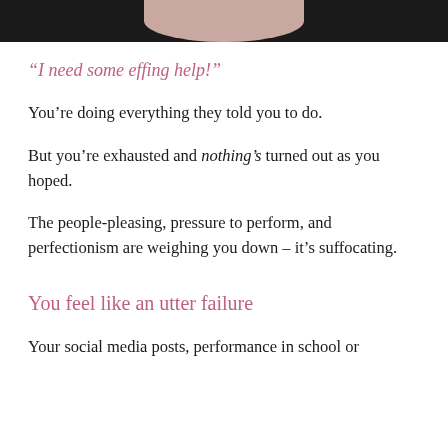[Figure (photo): Partial photo of a person, cropped at top, showing dark background with a circular/arc shape in the center.]
“I need some effing help!”
You’re doing everything they told you to do.
But you’re exhausted and nothing’s turned out as you hoped.
The people-pleasing, pressure to perform, and perfectionism are weighing you down – it’s suffocating.
You feel like an utter failure
Your social media posts, performance in school or